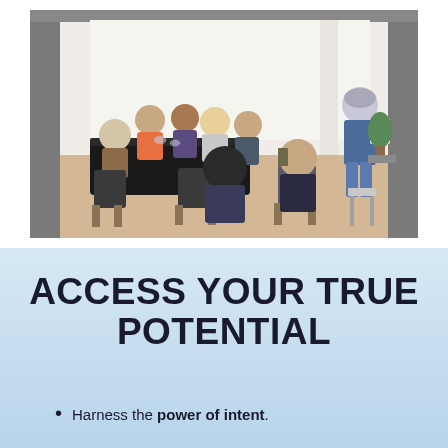[Figure (photo): A group of people in a bright modern room sitting in chairs arranged in a circle or semicircle, with a presenter or facilitator standing/sitting on a stool on the right side holding materials, appearing to lead a workshop or coaching session.]
ACCESS YOUR TRUE POTENTIAL
Harness the power of intent.